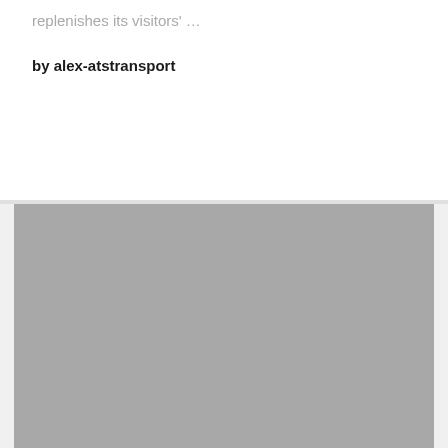replenishes its visitors' …
by alex-atstransport
[Figure (photo): A large gray rectangular image placeholder occupying the lower portion of the page.]